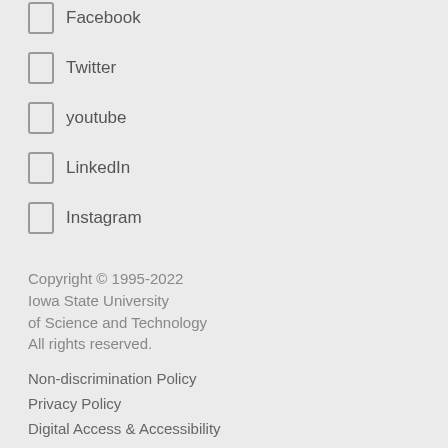Facebook
Twitter
youtube
LinkedIn
Instagram
Copyright © 1995-2022 Iowa State University of Science and Technology All rights reserved.
Non-discrimination Policy
Privacy Policy
Digital Access & Accessibility